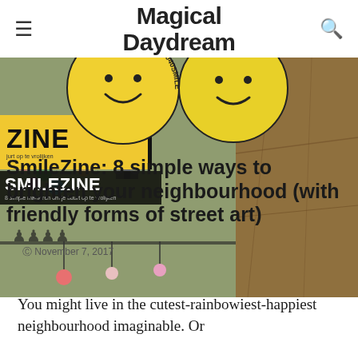Magical Daydream
[Figure (photo): Hero image showing SmileZine materials including a yellow zine booklet and cardboard box, with article title overlaid. Two yellow smiley stickers visible in header area with text 'LEUK IDEE? #040SMILE' and 'SMILE@EINDHOVEN.NL']
SmileZine: 8 simple ways to brighten your neighbourhood (with friendly forms of street art)
November 7, 2017
You might live in the cutest-rainbowiest-happiest neighbourhood imaginable. Or